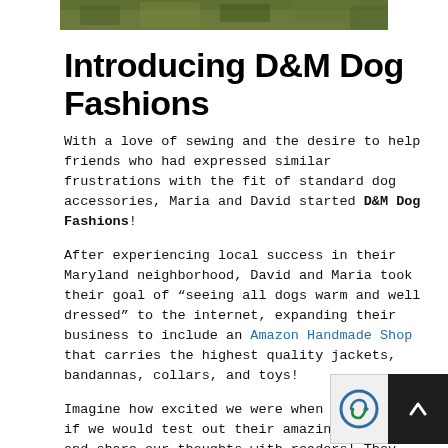[Figure (photo): Partial photo strip at top showing green outdoor/grass background]
Introducing D&M Dog Fashions
With a love of sewing and the desire to help friends who had expressed similar frustrations with the fit of standard dog accessories, Maria and David started D&M Dog Fashions!
After experiencing local success in their Maryland neighborhood, David and Maria took their goal of “seeing all dogs warm and well dressed” to the internet, expanding their business to include an Amazon Handmade Shop that carries the highest quality jackets, bandannas, collars, and toys!
Imagine how excited we were when Maria asked if we would test out their amazing products and share our thoughts with readers! They are sponsoring this post an